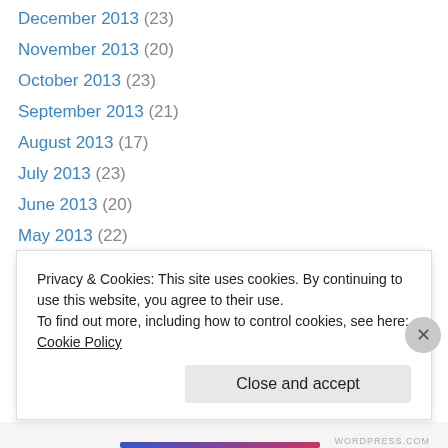December 2013 (23)
November 2013 (20)
October 2013 (23)
September 2013 (21)
August 2013 (17)
July 2013 (23)
June 2013 (20)
May 2013 (22)
April 2013 (22)
March 2013 (20)
February 2013 (20)
January 2013 (23)
December 2012 (19)
Privacy & Cookies: This site uses cookies. By continuing to use this website, you agree to their use. To find out more, including how to control cookies, see here: Cookie Policy
Close and accept